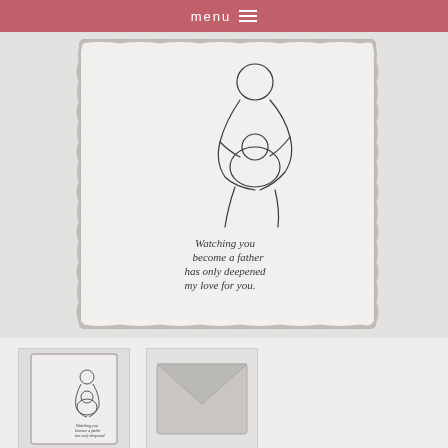menu
[Figure (photo): A greeting card with deckled edges on a light gray background. The card features a minimalist line drawing of a person holding a baby, and handwritten-style cursive text reading: Watching you become a father has only deepened my love for you.]
[Figure (photo): Thumbnail of the same greeting card showing the line drawing and text detail.]
[Figure (photo): Thumbnail of a gray envelope closed, shown from the front with a V-flap visible.]